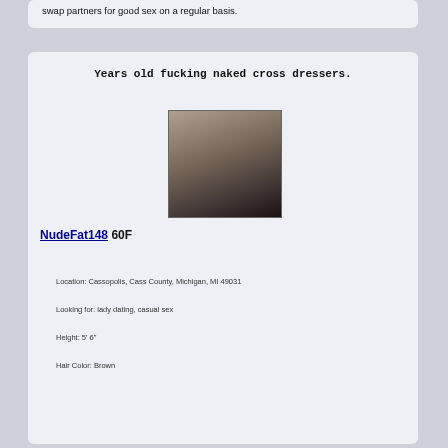swap partners for good sex on a regular basis.
Years old fucking naked cross dressers.
[Figure (photo): Photo of a person]
NudeFat148 60F
Location: Cassopolis, Cass County, Michigan, MI 49031
Looking for: lady dating, casual sex
Height: 5' 6"
Hair Color: Brown